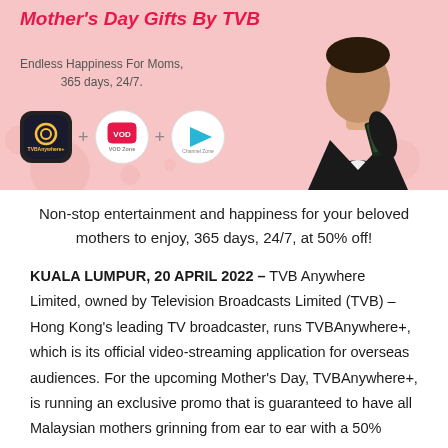[Figure (infographic): TVB Mother's Day promotional banner with pink background, showing the text 'Mother's Day Gifts By TVB', 'Endless Happiness For Moms, 365 days, 24/7.' with app icons (TVBAnywhere+, VOD Zone, Channel Zone) and a man in a suit holding a phone on the right side.]
Non-stop entertainment and happiness for your beloved mothers to enjoy, 365 days, 24/7, at 50% off!
KUALA LUMPUR, 20 APRIL 2022 – TVB Anywhere Limited, owned by Television Broadcasts Limited (TVB) – Hong Kong's leading TV broadcaster, runs TVBAnywhere+, which is its official video-streaming application for overseas audiences. For the upcoming Mother's Day, TVBAnywhere+, is running an exclusive promo that is guaranteed to have all Malaysian mothers grinning from ear to ear with a 50% discount on the Annual Package.